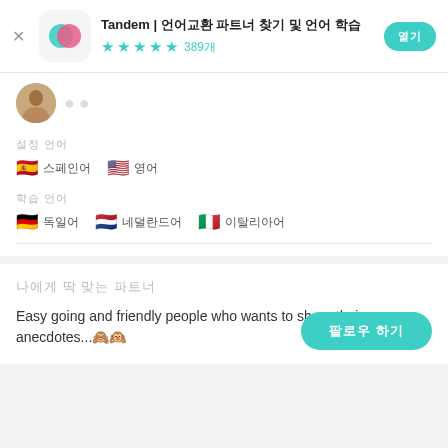Tandem | 언어교환 파트너 찾기 및 언어 학습
[Figure (logo): Tandem app icon with pink and teal overlapping circles]
★★★★½ 389개
설정 언어
🇪🇸 스페인어  🇺🇸 영어
학습 언어
🇩🇪 독일어  🇳🇱 네덜란드어  🇮🇹 이탈리아어
나에게 딱 맞는 파트너
Easy going and friendly people who wants to share their anecdotes...🙈🙉